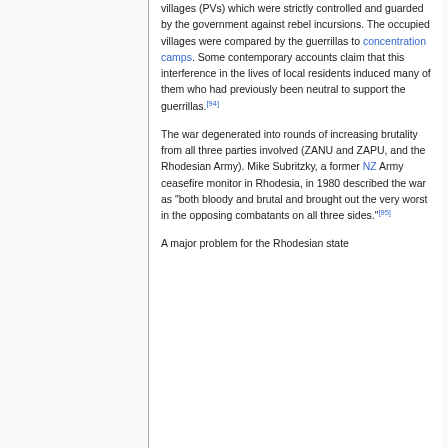villages (PVs) which were strictly controlled and guarded by the government against rebel incursions. The occupied villages were compared by the guerrillas to concentration camps. Some contemporary accounts claim that this interference in the lives of local residents induced many of them who had previously been neutral to support the guerrillas.[94]
The war degenerated into rounds of increasing brutality from all three parties involved (ZANU and ZAPU, and the Rhodesian Army). Mike Subritzky, a former NZ Army ceasefire monitor in Rhodesia, in 1980 described the war as "both bloody and brutal and brought out the very worst in the opposing combatants on all three sides."[95]
A major problem for the Rhodesian state